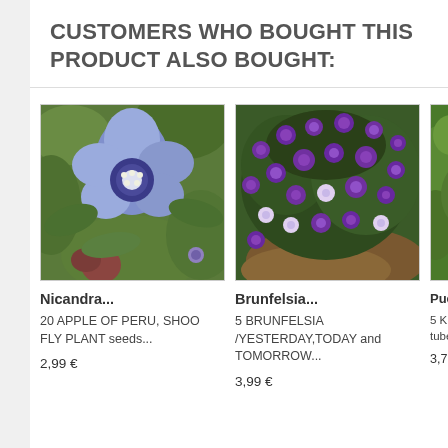CUSTOMERS WHO BOUGHT THIS PRODUCT ALSO BOUGHT:
[Figure (photo): Purple-blue flower (Nicandra) with white center and green leaves, close-up photo]
Nicandra...
20 APPLE OF PERU, SHOO FLY PLANT seeds...
2,99 €
[Figure (photo): Purple and white small flowers (Brunfelsia) clustered on green shrub, close-up photo]
Brunfelsia...
5 BRUNFELSIA /YESTERDAY,TODAY and TOMORROW...
3,99 €
[Figure (photo): Partially visible green plant photo, third product card cropped]
Pue...
5 Ki tube...
3,75...